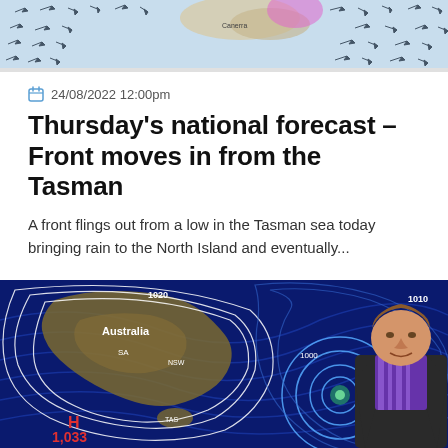[Figure (map): Top portion of a weather map showing wind flow arrows over New Zealand and surrounding ocean area, with a highlighted pink/magenta region.]
24/08/2022 12:00pm
Thursday's national forecast – Front moves in from the Tasman
A front flings out from a low in the Tasman sea today bringing rain to the North Island and eventually...
[Figure (photo): Weather forecast image showing a synoptic pressure map of Australia and the Tasman Sea area with isobars, labels (1020, 1033, Australia, SA, NSW, TAS), a high pressure system marked H 1,033 in the bottom left, and a weather presenter (man in suit) in the bottom right corner.]